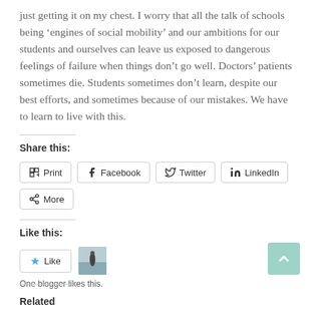just getting it on my chest. I worry that all the talk of schools being ‘engines of social mobility’ and our ambitions for our students and ourselves can leave us exposed to dangerous feelings of failure when things don’t go well. Doctors’ patients sometimes die. Students sometimes don’t learn, despite our best efforts, and sometimes because of our mistakes. We have to learn to live with this.
Share this:
Print | Facebook | Twitter | LinkedIn | More
Like this:
Like
One blogger likes this.
Related